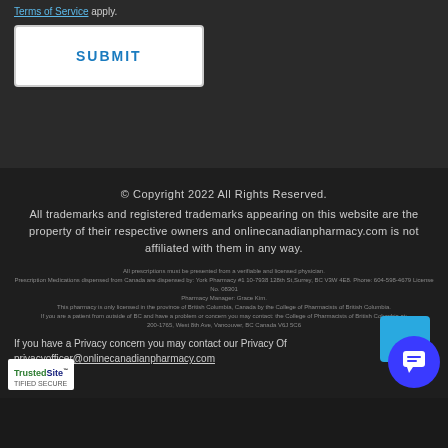Terms of Service apply.
SUBMIT
© Copyright 2022 All Rights Reserved.
All trademarks and registered trademarks appearing on this website are the property of their respective owners and onlinecanadianpharmacy.com is not affiliated with them in any way.
All prescriptions must be presented from a verifiable and licensed physician. Prescription Medications dispensed from Canada are dispensed by: York Pharmacy #1 10-7938 128th St,Surrey, BC V3W 4E8. Phone: 604-598-4679 License No. 08301 Pharmacy Manager: Grace Kim. This pharmacy is only licensed in the province of British Columbia, Canada by the College of Pharmacists of British Columbia. If you are a patient from outside of BC and have a problem or concern you may contact: the College of Pharmacists of British Columbia at: 200-1765, West 8th Ave, Vancouver, BC Canada V6J 5C6
If you have a Privacy concern you may contact our Privacy Of...
privacyofficer@onlinecanadianpharmacy.com